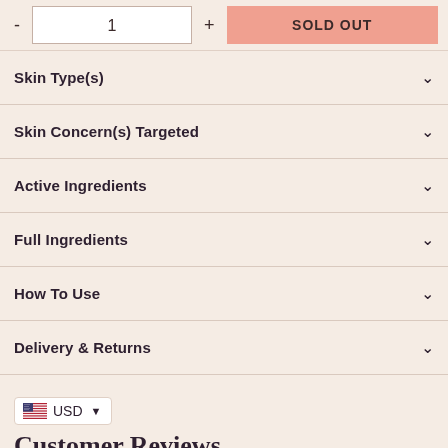- 1 + SOLD OUT
Skin Type(s)
Skin Concern(s) Targeted
Active Ingredients
Full Ingredients
How To Use
Delivery & Returns
USD
Customer Reviews
Be the first to write a review